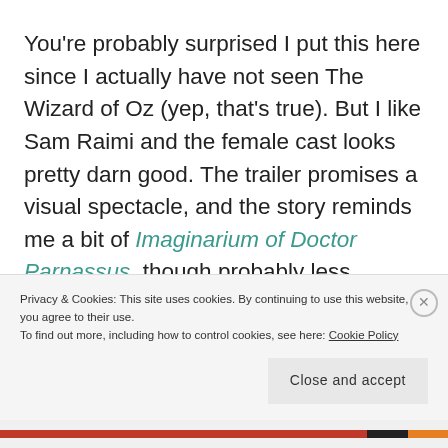You're probably surprised I put this here since I actually have not seen The Wizard of Oz (yep, that's true). But I like Sam Raimi and the female cast looks pretty darn good. The trailer promises a visual spectacle, and the story reminds me a bit of Imaginarium of Doctor Parnassus, though probably less surreal than the Terry Gilliam's movie. Anyway, it would've been awesome to see Robert Downey Jr. or...
Privacy & Cookies: This site uses cookies. By continuing to use this website, you agree to their use.
To find out more, including how to control cookies, see here: Cookie Policy
Close and accept